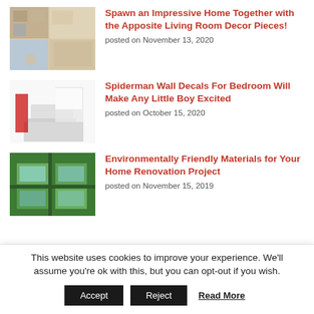[Figure (photo): Living room interior with gallery wall and colorful decor]
Spawn an Impressive Home Together with the Apposite Living Room Decor Pieces!
posted on November 13, 2020
[Figure (photo): Minimalist white bedroom with bed and large window]
Spiderman Wall Decals For Bedroom Will Make Any Little Boy Excited
posted on October 15, 2020
[Figure (photo): Green living wall with skylights on building exterior]
Environmentally Friendly Materials for Your Home Renovation Project
posted on November 15, 2019
This website uses cookies to improve your experience. We'll assume you're ok with this, but you can opt-out if you wish.